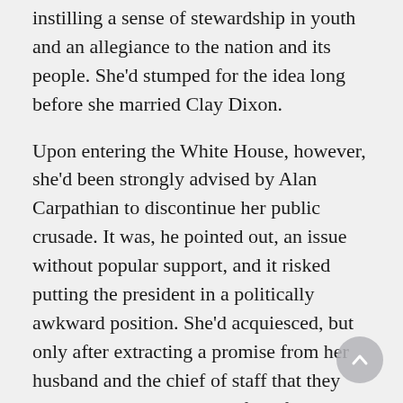instilling a sense of stewardship in youth and an allegiance to the nation and its people. She'd stumped for the idea long before she married Clay Dixon.

Upon entering the White House, however, she'd been strongly advised by Alan Carpathian to discontinue her public crusade. It was, he pointed out, an issue without popular support, and it risked putting the president in a politically awkward position. She'd acquiesced, but only after extracting a promise from her husband and the chief of staff that they would undertake a study of the feasibility of such a program. After Carpathian's death, John Llewellyn advocated scrapping the whole project, but Lorna Channing had